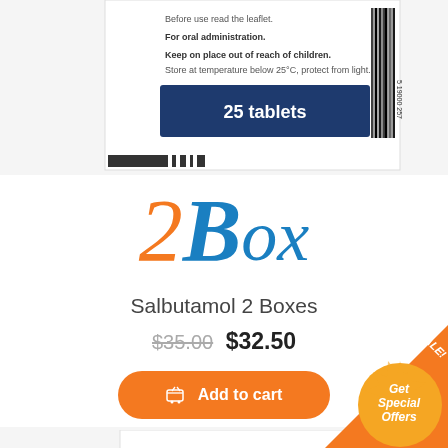[Figure (photo): Top portion of a Salbutamol tablet box showing text: 'Before use read the leaflet.', 'For oral administration.', 'Keep on place out of reach of children.', 'Store at temperature below 25°C, protect from light.', '25 tablets' in dark blue banner. Barcode visible on right side.]
2 Box
Salbutamol 2 Boxes
$35.00  $32.50
Add to cart
[Figure (photo): SALBUTAMOL WZF Tablets box, partially visible. Shows bold black text 'SALBUTAMOL WZF' and 'Tablets' below it. A red banner with 'Salbutamol' text is visible at bottom. Sale badge with 'Get Special Offers' and 'SALE!' corner ribbon in orange/gold starburst.]